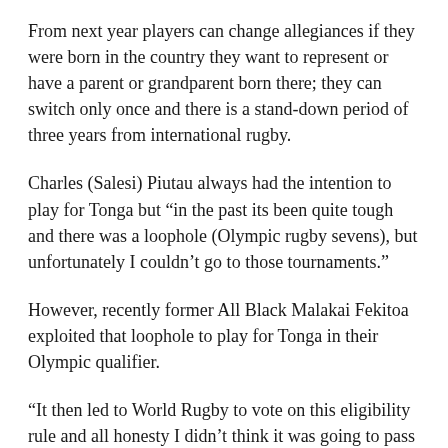From next year players can change allegiances if they were born in the country they want to represent or have a parent or grandparent born there; they can switch only once and there is a stand-down period of three years from international rugby.
Charles (Salesi) Piutau always had the intention to play for Tonga but "in the past its been quite tough and there was a loophole (Olympic rugby sevens), but unfortunately I couldn't go to those tournaments."
However, recently former All Black Malakai Fekitoa exploited that loophole to play for Tonga in their Olympic qualifier.
"It then led to World Rugby to vote on this eligibility rule and all honesty I didn't think it was going to pass because in the past when the vote came about it didn't reach the 75 pecent [votes needed to pass the resolution] pass mark for it to be approved,"